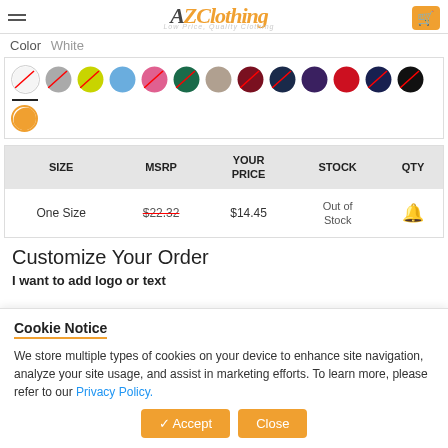AZClothing - Low Price, Quality Clothing
Color  White
[Figure (illustration): Color swatch selector showing multiple colored circles: white/striped, gray, yellow-green, blue, pink, dark green, tan, dark red, dark navy, dark purple, red, navy blue, black (selected/underlined), and orange (second row)]
| SIZE | MSRP | YOUR PRICE | STOCK | QTY |
| --- | --- | --- | --- | --- |
| One Size | $22.32 | $14.45 | Out of Stock | 🔔 |
Customize Your Order
I want to add logo or text
Cookie Notice
We store multiple types of cookies on your device to enhance site navigation, analyze your site usage, and assist in marketing efforts. To learn more, please refer to our Privacy Policy.
✓ Accept  Close